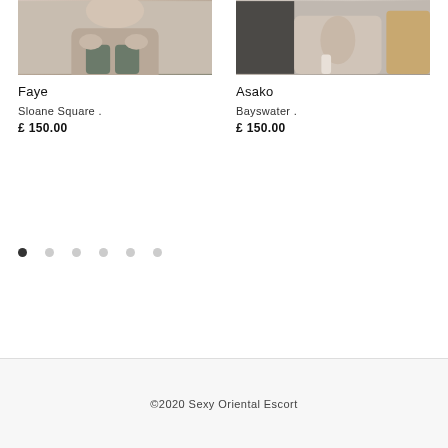[Figure (photo): Cropped photo of a person in swimwear/underwear, left card image for Faye]
[Figure (photo): Cropped photo of a person, right card image for Asako]
Faye
Sloane Square .
£ 150.00
Asako
Bayswater .
£ 150.00
©2020 Sexy Oriental Escort